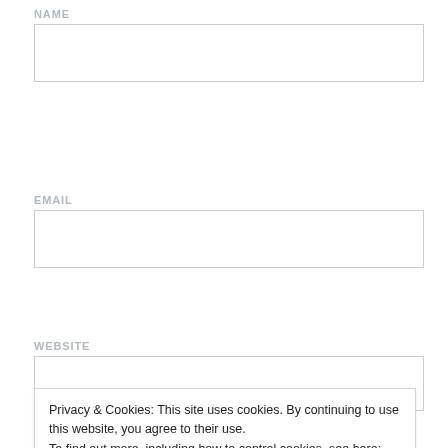NAME
[Figure (other): Empty text input field for NAME]
EMAIL
[Figure (other): Empty text input field for EMAIL]
WEBSITE
[Figure (other): Empty text input field for WEBSITE]
Privacy & Cookies: This site uses cookies. By continuing to use this website, you agree to their use.
To find out more, including how to control cookies, see here:
Cookie Policy
Close and accept
NOTIFY ME OF NEW COMMENTS VIA EMAIL.